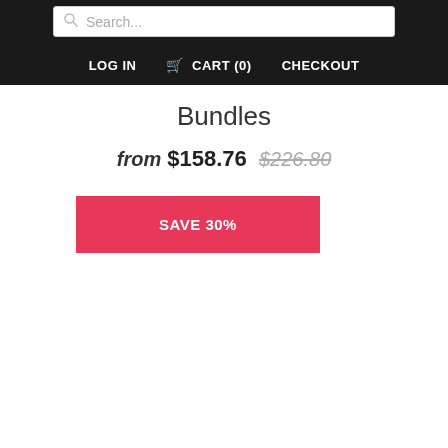Search... | LOG IN | CART (0) | CHECKOUT
Bundles
from $158.76 $226.80
SAVE 30%